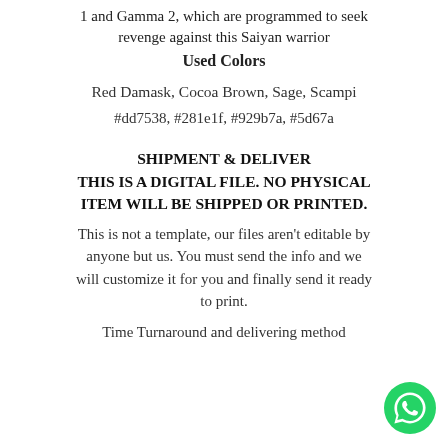1 and Gamma 2, which are programmed to seek revenge against this Saiyan warrior
Used Colors
Red Damask, Cocoa Brown, Sage, Scampi
#dd7538, #281e1f, #929b7a, #5d67a
SHIPMENT & DELIVER THIS IS A DIGITAL FILE. NO PHYSICAL ITEM WILL BE SHIPPED OR PRINTED.
This is not a template, our files aren't editable by anyone but us. You must send the info and we will customize it for you and finally send it ready to print.
Time Turnaround and delivering method